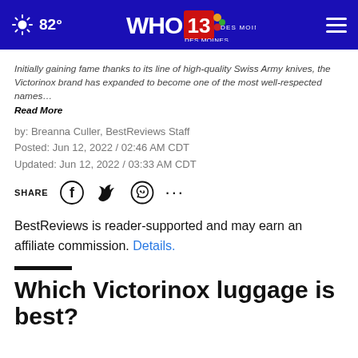82° WHO 13 DES MOINES
Initially gaining fame thanks to its line of high-quality Swiss Army knives, the Victorinox brand has expanded to become one of the most well-respected names… Read More
by: Breanna Culler, BestReviews Staff
Posted: Jun 12, 2022 / 02:46 AM CDT
Updated: Jun 12, 2022 / 03:33 AM CDT
SHARE
BestReviews is reader-supported and may earn an affiliate commission. Details.
Which Victorinox luggage is best?